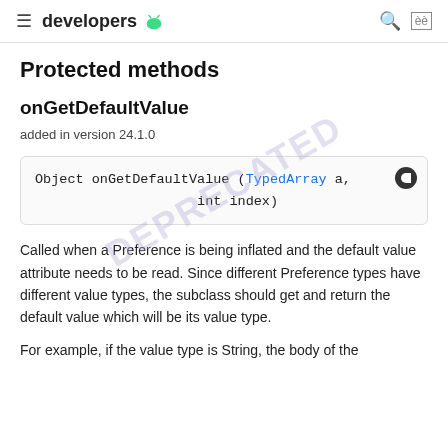developers
Protected methods
onGetDefaultValue
added in version 24.1.0
Object onGetDefaultValue (TypedArray a,
                    int index)
Called when a Preference is being inflated and the default value attribute needs to be read. Since different Preference types have different value types, the subclass should get and return the default value which will be its value type.
For example, if the value type is String, the body of the